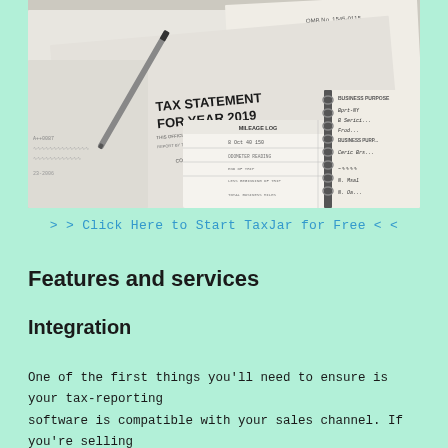[Figure (photo): Photo of tax documents including a 1099-MISC form with 'TAX STATEMENT FOR YEAR 2019' visible, a mileage log book, a spiral-bound notebook with handwritten entries, and a pen resting on the papers.]
> > Click Here to Start TaxJar for Free < <
Features and services
Integration
One of the first things you'll need to ensure is your tax-reporting software is compatible with your sales channel. If you're selling